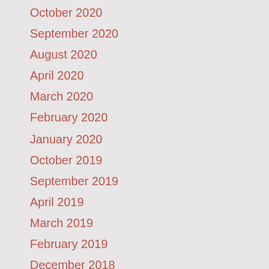October 2020
September 2020
August 2020
April 2020
March 2020
February 2020
January 2020
October 2019
September 2019
April 2019
March 2019
February 2019
December 2018
October 2018
September 2018
August 2018
July 2018
June 2018
May 2018